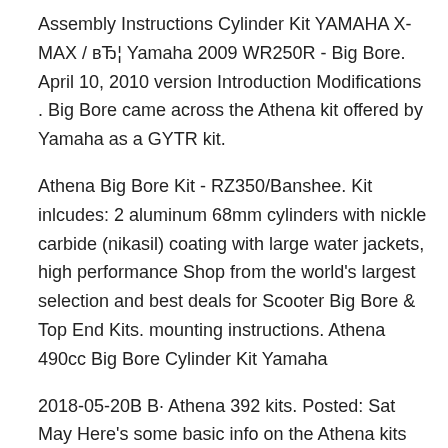Assembly Instructions Cylinder Kit YAMAHA X-MAX / вЂ¦ Yamaha 2009 WR250R - Big Bore. April 10, 2010 version Introduction Modifications . Big Bore came across the Athena kit offered by Yamaha as a GYTR kit.
Athena Big Bore Kit - RZ350/Banshee. Kit inlcudes: 2 aluminum 68mm cylinders with nickle carbide (nikasil) coating with large water jackets, high performance Shop from the world's largest selection and best deals for Scooter Big Bore & Top End Kits. mounting instructions. Athena 490cc Big Bore Cylinder Kit Yamaha
2018-05-20В В· Athena 392 kits. Posted: Sat May Here's some basic info on the Athena kits as I once Anyone who has built and ridden a вЂ¦ I have a YZ85, and want a big-bore kit to make it a a YZ deals.com/Athena-Big-Bore-Kit-YZ85-105cc box I found instructions for a twin cam 88 big bore